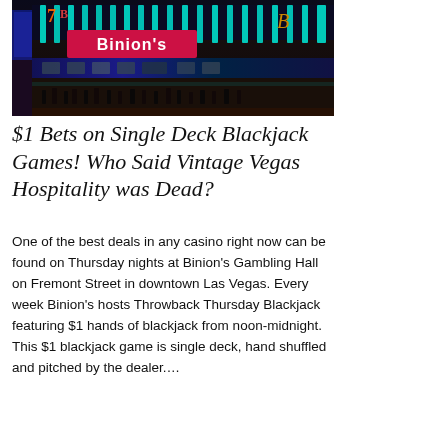[Figure (photo): Night photograph of Binion's Gambling Hall on Fremont Street in downtown Las Vegas, showing the neon-lit exterior with colorful signs including the Binion's logo, a large '7B' neon sign, and crowds of people on the street below.]
$1 Bets on Single Deck Blackjack Games! Who Said Vintage Vegas Hospitality was Dead?
One of the best deals in any casino right now can be found on Thursday nights at Binion's Gambling Hall on Fremont Street in downtown Las Vegas. Every week Binion's hosts Throwback Thursday Blackjack featuring $1 hands of blackjack from noon-midnight. This $1 blackjack game is single deck, hand shuffled and pitched by the dealer….